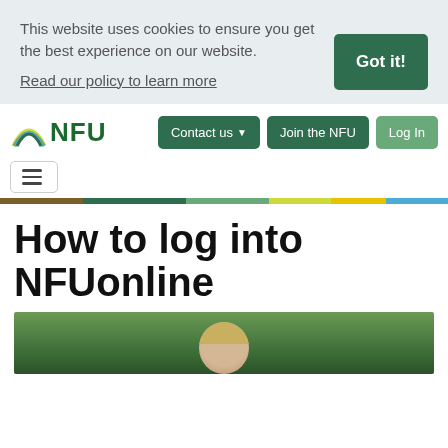This website uses cookies to ensure you get the best experience on our website.
Read our policy to learn more
Got it!
[Figure (logo): NFU logo with rainbow arc and bold green NFU text]
Contact us
Join the NFU
Log In
How to log into NFUonline
[Figure (photo): Partial photo of a blond person outdoors with green foliage background]